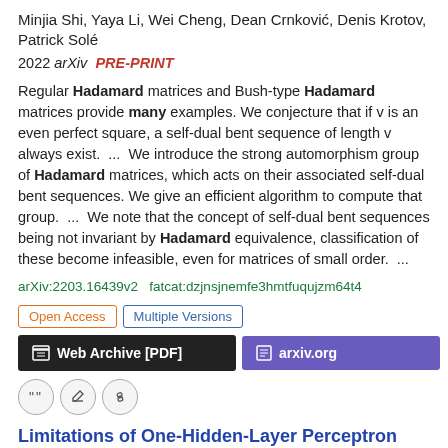Minjia Shi, Yaya Li, Wei Cheng, Dean Crnković, Denis Krotov, Patrick Solé
2022 arXiv  PRE-PRINT
Regular Hadamard matrices and Bush-type Hadamard matrices provide many examples. We conjecture that if v is an even perfect square, a self-dual bent sequence of length v always exist.  ...  We introduce the strong automorphism group of Hadamard matrices, which acts on their associated self-dual bent sequences. We give an efficient algorithm to compute that group.  ...  We note that the concept of self-dual bent sequences being not invariant by Hadamard equivalence, classification of these become infeasible, even for matrices of small order.  ...
arXiv:2203.16439v2  fatcat:dzjnsjnemfe3hmtfuqujzm64t4
Open Access
Multiple Versions
Web Archive [PDF]
arxiv.org
Limitations of One-Hidden-Layer Perceptron Networks